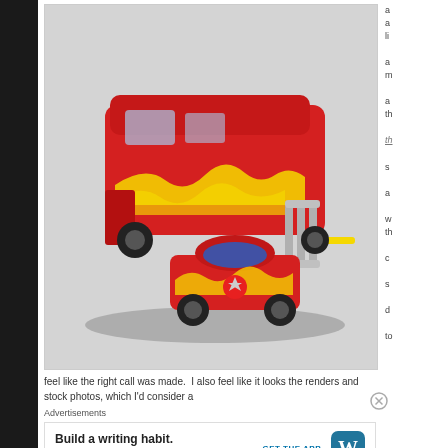[Figure (photo): A Transformers toy in vehicle mode — a red and yellow flame-decorated large RV/trailer with a small sports car (Hot Rod) visible at the front, photographed against a light grey background. A circular watermark/logo is visible in the upper right corner of the photo.]
feel like the right call was made.  I also feel like it looks the renders and stock photos, which I'd consider a
Advertisements
Build a writing habit.
Post on the go.
GET THE APP